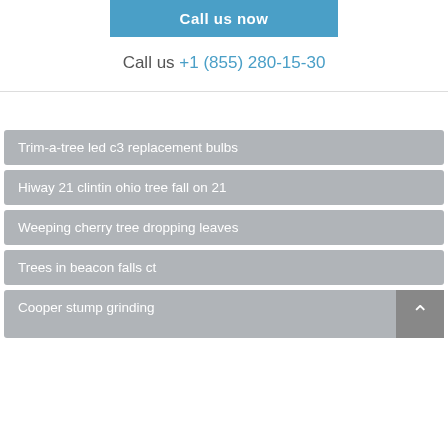Call us now
Call us +1 (855) 280-15-30
Trim-a-tree led c3 replacement bulbs
Hiway 21 clintin ohio tree fall on 21
Weeping cherry tree dropping leaves
Trees in beacon falls ct
Cooper stump grinding